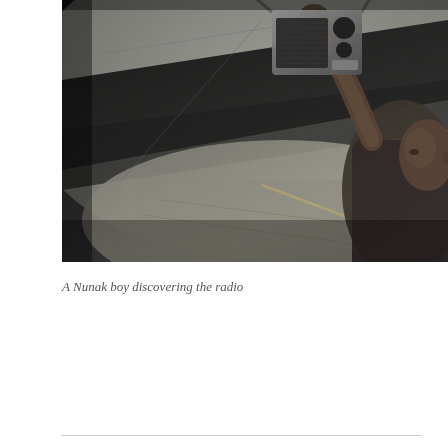[Figure (photo): Black and white photograph of a young Nunak boy holding up a portable radio with his arm raised, set against a background of sandy ground and dark draped fabric. The image is shot from a low angle looking upward.]
A Nunak boy discovering the radio